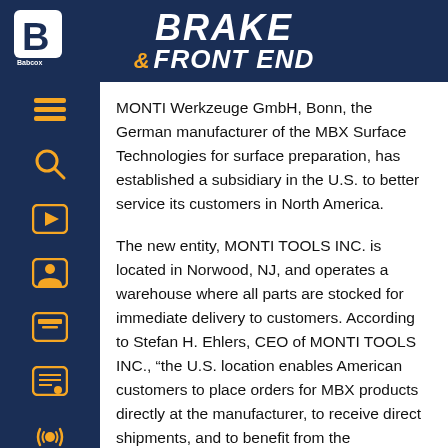BRAKE & FRONT END
MONTI Werkzeuge GmbH, Bonn, the German manufacturer of the MBX Surface Technologies for surface preparation, has established a subsidiary in the U.S. to better service its customers in North America.
The new entity, MONTI TOOLS INC. is located in Norwood, NJ, and operates a warehouse where all parts are stocked for immediate delivery to customers. According to Stefan H. Ehlers, CEO of MONTI TOOLS INC., “the U.S. location enables American customers to place orders for MBX products directly at the manufacturer, to receive direct shipments, and to benefit from the manufacturer’s expertise.”